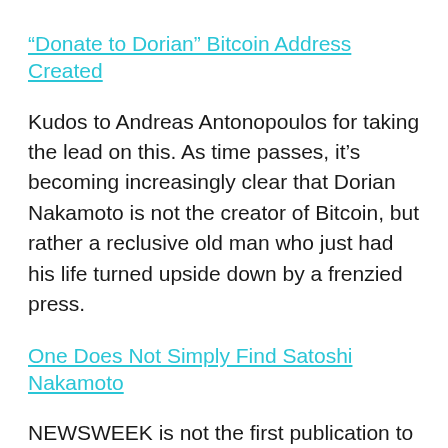“Donate to Dorian” Bitcoin Address Created
Kudos to Andreas Antonopoulos for taking the lead on this. As time passes, it’s becoming increasingly clear that Dorian Nakamoto is not the creator of Bitcoin, but rather a reclusive old man who just had his life turned upside down by a frenzied press.
One Does Not Simply Find Satoshi Nakamoto
NEWSWEEK is not the first publication to try and reveal the identity of the mystery man. What was so different this time around? First of all, bitcoin is bigger and better-known, used frequently as headline “link bait.” Secondly, this was not the work of blogger or a niche